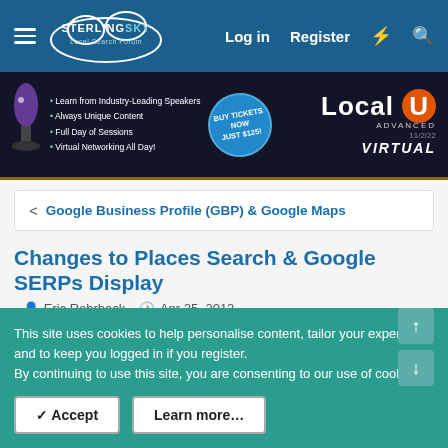Sterling Sky Local Search Forum — Log in | Register
[Figure (infographic): LocalU Advanced Virtual event banner — Learn from Industry-Leading Speakers, Always Unique Content, Full Day of Sessions, Virtual Networking All Day! BUY TICKETS NOW JUST $125! Local U Advanced Virtual 11/2/22]
< Google Business Profile (GBP) & Google Maps
Changes to Places Search & Google SERPs Display
· Eric Rohrback · Apr 25, 2013
Prev  1  2  3
Linda Buquet
This site uses cookies to help personalise content, tailor your experience and to keep you logged in if you register.
By continuing to use this site, you are consenting to our use of cookies.
✓ Accept    Learn more…